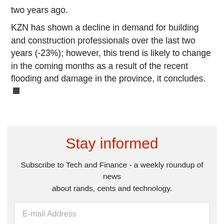two years ago.
KZN has shown a decline in demand for building and construction professionals over the last two years (-23%); however, this trend is likely to change in the coming months as a result of the recent flooding and damage in the province, it concludes.
Stay informed
Subscribe to Tech and Finance - a weekly roundup of news about rands, cents and technology.
E-mail Address
SUBSCRIBE